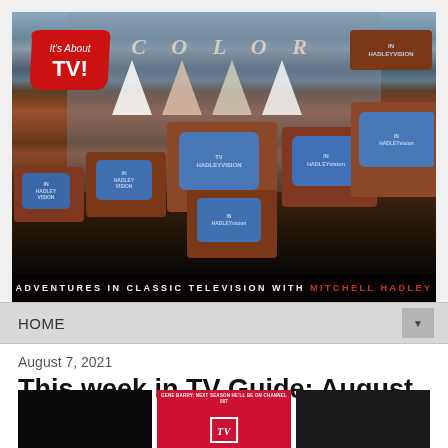[Figure (photo): Banner photo showing multiple vintage color television sets displaying 'Hadleyvision' on their screens, arranged in a showroom. A 'COLOR' text banner is visible in the background with decorative pennants. An 'It's About TV!' logo is overlaid in the top left. A black bar at the bottom reads 'ADVENTURES IN CLASSIC TELEVISION WITH MITCHELL HADLEY'.]
HOME
August 7, 2021
This week in TV Guide: August 7, 1965
[Figure (photo): Three thumbnail images: a dark image on the left, a middle image with red background showing 'GENE BARRY: NEXT SEASON HE'LL BE ON CHANNEL 007' text and a TV Guide magazine cover, and a dark image on the right.]